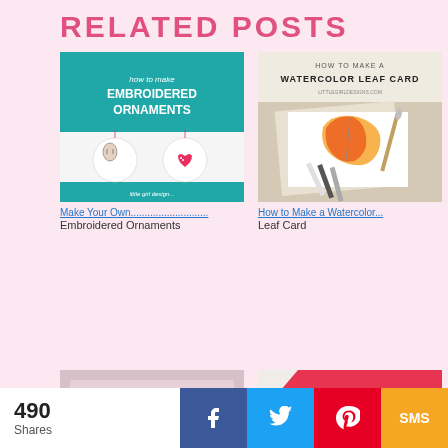RELATED POSTS
[Figure (photo): Blog post thumbnail: How to make Embroidered Ornaments - teal/turquoise background with white ornaments showing a girl face and heart design]
Make Your Own............................ Embroidered Ornaments
[Figure (photo): Blog post thumbnail: How to Make a Watercolor Leaf Card - beige background with watercolor leaf painting and pencils]
How to Make a Watercolor... Leaf Card
[Figure (photo): Blog post thumbnail: knitted/crocheted pink yarn item with label]
[Figure (photo): Blog post thumbnail: How to Make Clay Ornaments - white background with red diagonal stripe, text HOW TO MAKE CLAY ORNAMENTS, littlegirldesigns.com]
490 Shares
[Figure (infographic): Social share bar with Facebook, Twitter, Pinterest, and SMS buttons]